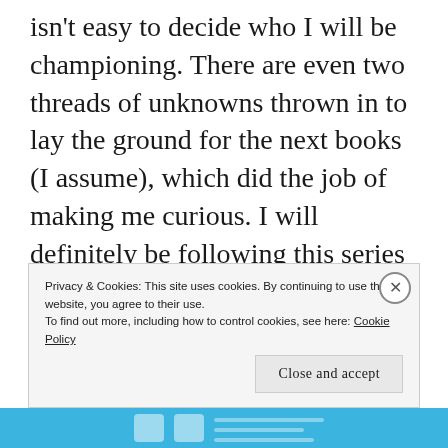isn't easy to decide who I will be championing. There are even two threads of unknowns thrown in to lay the ground for the next books (I assume), which did the job of making me curious. I will definitely be following this series if I can. The mystery itself kept winding into new territories, making it harder to guess the culprit but once last few
Privacy & Cookies: This site uses cookies. By continuing to use this website, you agree to their use.
To find out more, including how to control cookies, see here: Cookie Policy
Close and accept